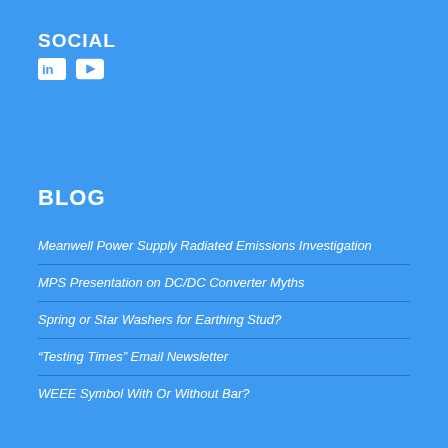SOCIAL
[Figure (illustration): LinkedIn and YouTube social media icons in white on blue background]
BLOG
Meanwell Power Supply Radiated Emissions Investigation
MPS Presentation on DC/DC Converter Myths
Spring or Star Washers for Earthing Stud?
“Testing Times” Email Newsletter
WEEE Symbol With Or Without Bar?